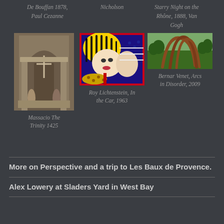De Bouffan 1878, Paul Cezanne
Nicholson
Starry Night on the Rhône, 1888, Van Gogh
[Figure (photo): Massacio The Trinity fresco artwork]
Massacio The Trinity 1425
[Figure (photo): Roy Lichtenstein In the Car pop art painting]
Roy Lichtenstein, In the Car, 1963
[Figure (photo): Bernar Venet Arcs in Disorder outdoor sculpture]
Bernar Venet, Arcs in Disorder, 2009
More on Perspective and a trip to Les Baux de Provence.
Alex Lowery at Sladers Yard in West Bay